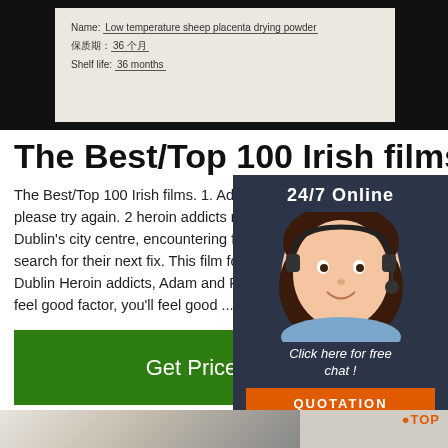[Figure (photo): Product label showing Name: Low temperature sheep placenta drying powder, 保质期: 36个月, Shelf life: 36 months on a light background with dark border]
The Best/Top 100 Irish films
The Best/Top 100 Irish films. 1. Adam & Paul (20... please try again. 2 heroin addicts negotiate their Dublin's city centre, encountering friends and fam search for their next fix. This film follows a day in Dublin Heroin addicts, Adam and Paul.A black co feel good factor, you'll feel good ...
[Figure (photo): Get Price green button]
[Figure (photo): Sidebar with 24/7 Online text, photo of female customer service agent with headset, Click here for free chat!, QUOTATION button]
[Figure (photo): Bottom image showing a black and white cow/sheep in a farm setting with TOP logo in orange on the right]